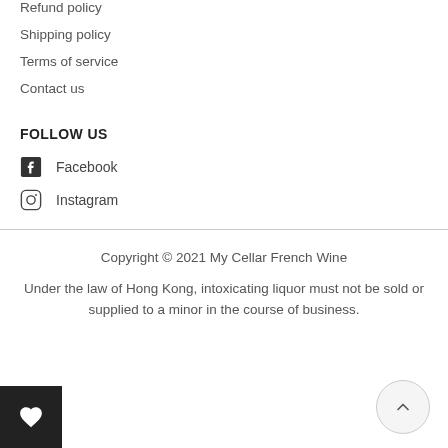Refund policy
Shipping policy
Terms of service
Contact us
FOLLOW US
Facebook
Instagram
Copyright © 2021 My Cellar French Wine
Under the law of Hong Kong, intoxicating liquor must not be sold or supplied to a minor in the course of business.